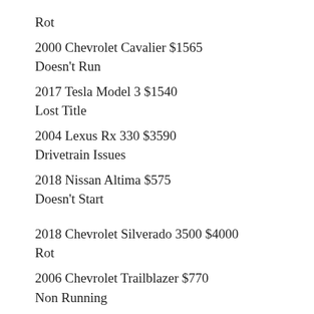Rot
2000 Chevrolet Cavalier $1565
Doesn't Run
2017 Tesla Model 3 $1540
Lost Title
2004 Lexus Rx 330 $3590
Drivetrain Issues
2018 Nissan Altima $575
Doesn't Start
2018 Chevrolet Silverado 3500 $4000
Rot
2006 Chevrolet Trailblazer $770
Non Running